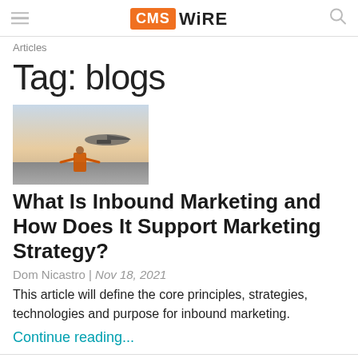CMS WiRE
Articles
Tag: blogs
[Figure (photo): Person in orange vest standing on airport tarmac with airplane in background at dusk]
What Is Inbound Marketing and How Does It Support Marketing Strategy?
Dom Nicastro | Nov 18, 2021
This article will define the core principles, strategies, technologies and purpose for inbound marketing.
Continue reading...
[Figure (photo): Dark background with colorful bokeh dots in teal, yellow, and pink]